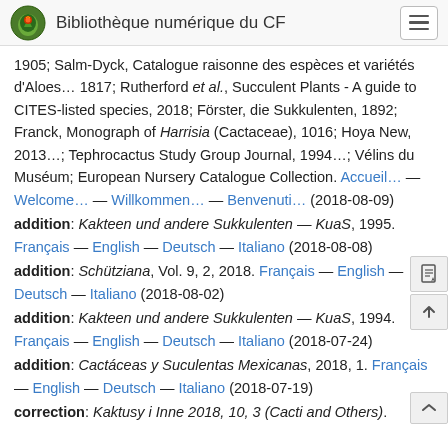Bibliothèque numérique du CF
1905; Salm-Dyck, Catalogue raisonne des espèces et variétés d'Aloes… 1817; Rutherford et al., Succulent Plants - A guide to CITES-listed species, 2018; Förster, die Sukkulenten, 1892; Franck, Monograph of Harrisia (Cactaceae), 1016; Hoya New, 2013…; Tephrocactus Study Group Journal, 1994…; Vélins du Muséum; European Nursery Catalogue Collection. Accueil… — Welcome… — Willkommen… — Benvenuti… (2018-08-09)
addition: Kakteen und andere Sukkulenten — KuaS, 1995. Français — English — Deutsch — Italiano (2018-08-08)
addition: Schütziana, Vol. 9, 2, 2018. Français — English — Deutsch — Italiano (2018-08-02)
addition: Kakteen und andere Sukkulenten — KuaS, 1994. Français — English — Deutsch — Italiano (2018-07-24)
addition: Cactáceas y Suculentas Mexicanas, 2018, 1. Français — English — Deutsch — Italiano (2018-07-19)
correction: Kaktusy i Inne 2018, 10, 3 (Cacti and Others).